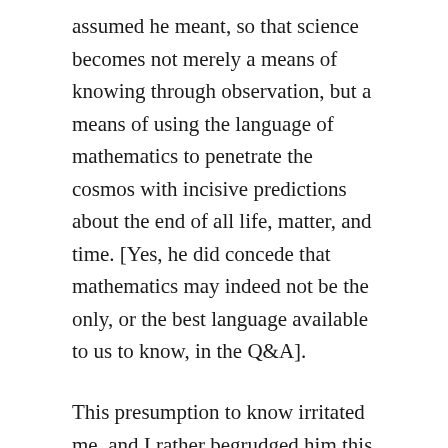assumed he meant, so that science becomes not merely a means of knowing through observation, but a means of using the language of mathematics to penetrate the cosmos with incisive predictions about the end of all life, matter, and time. [Yes, he did concede that mathematics may indeed not be the only, or the best language available to us to know, in the Q&A].
This presumption to know irritated me, and I rather begrudged him this statement that night. I asked Venus Genetrix, Nature herself, to disprove his predictions, to keep her mysteries fully intact. Be careful what you wish for, I suppose…
But then I realized that I habitually look to establish a similar sense of “control” in my own research. I study